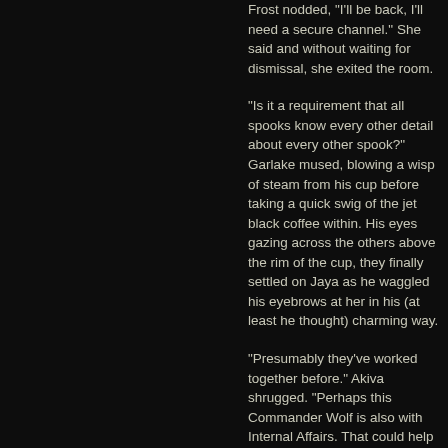Frost nodded, "I'll be back, I'll need a secure channel." She said and without waiting for dismissal, she exited the room.
"Is it a requirement that all spooks know every other detail about every other spook?" Garlake mused, blowing a wisp of steam from his cup before taking a quick swig of the jet black coffee within. His eyes gazing across the others above the rim of the cup, they finally settled on Jaya as he waggled his eyebrows at her in his (at least he thought) charming way.
"Presumably they've worked together before." Akiva shrugged. "Perhaps this Commander Wolf is also with Internal Affairs. That could help us right now because, as it stands, Mrazak is unlikely to meet the tribunal's deadline." Looking at everyone, he asked, "In that event, any thoughts about